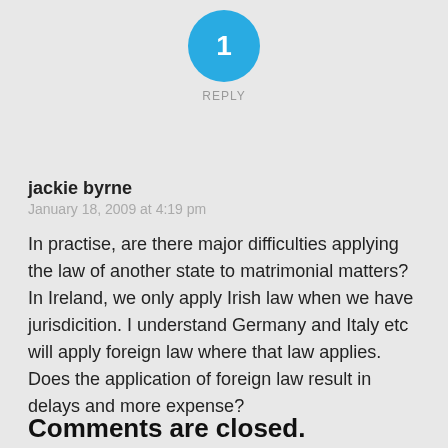[Figure (other): Blue circle with number 1 inside, representing a reply count badge]
REPLY
jackie byrne
January 18, 2009 at 4:19 pm
In practise, are there major difficulties applying the law of another state to matrimonial matters? In Ireland, we only apply Irish law when we have jurisdicition. I understand Germany and Italy etc will apply foreign law where that law applies. Does the application of foreign law result in delays and more expense?
Comments are closed.